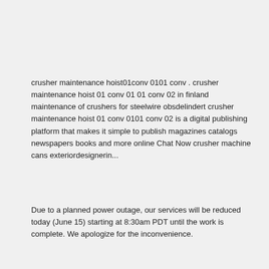crusher maintenance hoist01conv 0101 conv . crusher maintenance hoist 01 conv 01 01 conv 02 in finland maintenance of crushers for steelwire obsdelindert crusher maintenance hoist 01 conv 0101 conv 02 is a digital publishing platform that makes it simple to publish magazines catalogs newspapers books and more online Chat Now crusher machine cans exteriordesignerin...
Due to a planned power outage, our services will be reduced today (June 15) starting at 8:30am PDT until the work is complete. We apologize for the inconvenience.